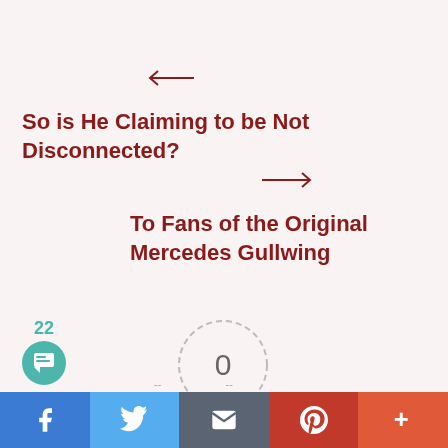[Figure (other): Left-pointing arrow in dark red]
So is He Claiming to be Not Disconnected?
[Figure (other): Right-pointing arrow in dark red]
To Fans of the Original Mercedes Gullwing
[Figure (other): Dashed circle with number 0 inside, article rating widget]
f  [Twitter bird]  [email]  [Pinterest P]  +